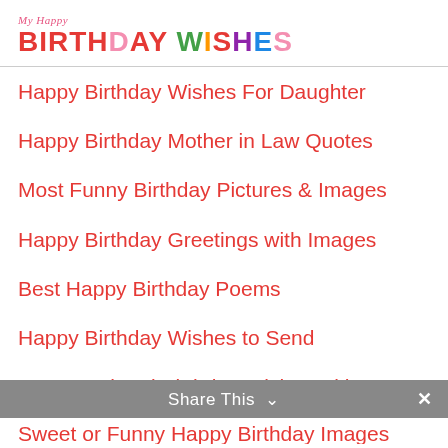My Happy Birthday Wishes
Happy Birthday Wishes For Daughter
Happy Birthday Mother in Law Quotes
Most Funny Birthday Pictures & Images
Happy Birthday Greetings with Images
Best Happy Birthday Poems
Happy Birthday Wishes to Send
Happy Belated Birthday Wishes with Images
Share This ✓  ✕
Sweet or Funny Happy Birthday Images